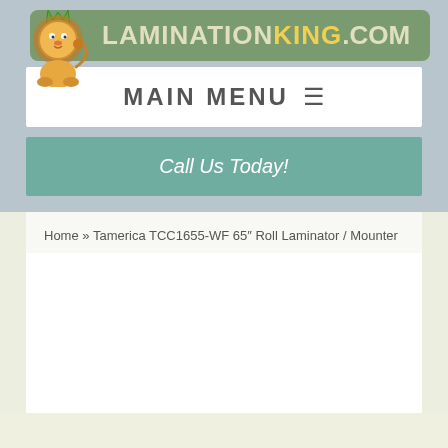[Figure (logo): LaminationKing.com logo with cartoon lion wearing a crown on a green banner background]
MAIN MENU ☰
Call Us Today!
Home » Tamerica TCC1655-WF 65″ Roll Laminator / Mounter